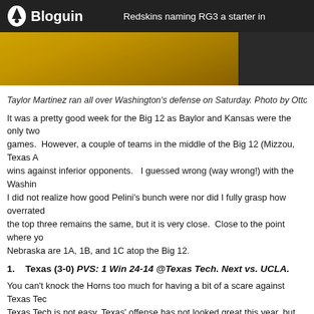Bloguin | Redskins naming RG3 a starter in
[Figure (photo): Photo strip showing a player in yellow/gold uniform on left, dark background on right]
Taylor Martinez ran all over Washington's defense on Saturday. Photo by Otto G
It was a pretty good week for the Big 12 as Baylor and Kansas were the only two games. However, a couple of teams in the middle of the Big 12 (Mizzou, Texas A wins against inferior opponents. I guessed wrong (way wrong!) with the Washin I did not realize how good Pelini's bunch were nor did I fully grasp how overrated the top three remains the same, but it is very close. Close to the point where yo Nebraska are 1A, 1B, and 1C atop the Big 12.
1. Texas (3-0) PVS: 1 Win 24-14 @Texas Tech. Next vs. UCLA.
You can't knock the Horns too much for having a bit of a scare against Texas Tec Texas Tech is not easy. Texas' offense has not looked great this year, but with th mattered.
2. Oklahoma (3-0) PVS: 2 Win 27-24 vs. Air Force. Next @Cincinnati.
Last week I said that if Oklahoma blew out their next opponent then I would cons didn't blow out Air Force, but the win could prove to be bigger than most expect a earlier. DeMarco Murray's 3 TDs vault him into the Heisman discussion.
3. Nebraska (3-0) PVS: 3 Win 56-21 @Washinton. Next vs. South Dakota Sta